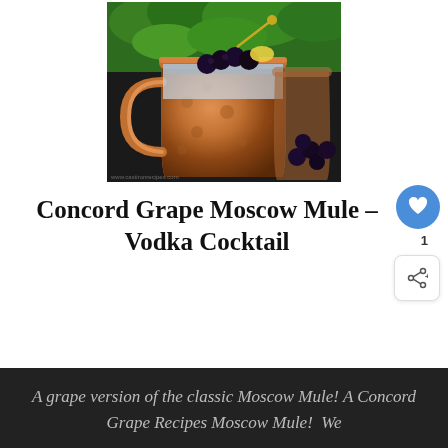[Figure (photo): A copper Moscow Mule mug filled with ice and dark liquid, garnished with black concord grapes and lemon, with green herbs and loose grapes in the background on a dark surface. Website watermark visible at bottom left.]
Concord Grape Moscow Mule – Vodka Cocktail
A grape version of the classic Moscow Mule! A Concord Grape Recipes Moscow Mule!  We